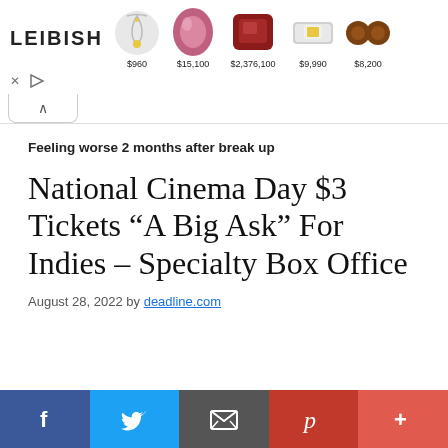[Figure (other): Leibish jewelry advertisement banner showing logo and 5 gem/jewelry items with prices: necklace $960, pink oval gemstone $15,100, red rectangular gemstone $2,376,100, ring $9,990, earrings $8,200]
Feeling worse 2 months after break up
National Cinema Day $3 Tickets “A Big Ask” For Indies – Specialty Box Office
August 28, 2022 by deadline.com
[Figure (other): Social sharing bar with 5 buttons: Facebook (dark blue), Twitter (light blue), Email (grey), Pinterest (dark red), More/Plus (red-orange)]